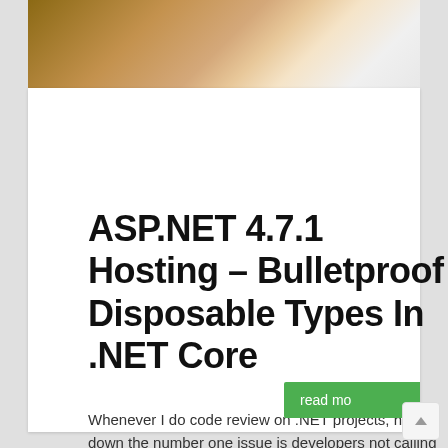[Figure (photo): Partial photo of a person, cropped at top, showing what appears to be a woman with light-colored top, brown/tan clothing, blurred background]
ASP.NET 4.7.1 Hosting – Bulletproof Disposable Types In .NET Core
Whenever I do code review on .NET projects, hands down the number one issue is developers not calling .Dispose() on disposable objects. Ever since .NET was released, I have been preaching how important this is. If not done properly, it's…
Tom Jarvis   March 6, 2018   Other Related Posts